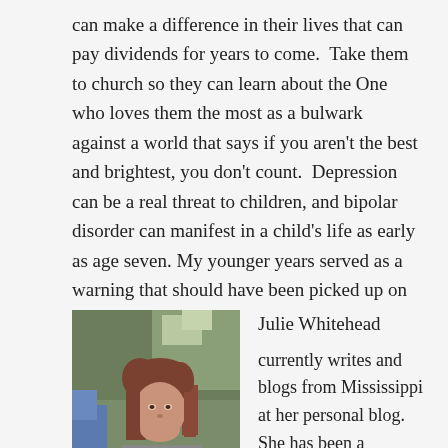can make a difference in their lives that can pay dividends for years to come.  Take them to church so they can learn about the One who loves them the most as a bulwark against a world that says if you aren't the best and brightest, you don't count.  Depression can be a real threat to children, and bipolar disorder can manifest in a child's life as early as age seven. My younger years served as a warning that should have been picked up on but wasn't.
[Figure (photo): Photo of Julie Whitehead, a woman with shoulder-length reddish-brown hair, outdoors with trees in the background and someone in a blue shirt partially visible to the left.]
Julie Whitehead currently writes and blogs from Mississippi at her personal blog.  She has been a